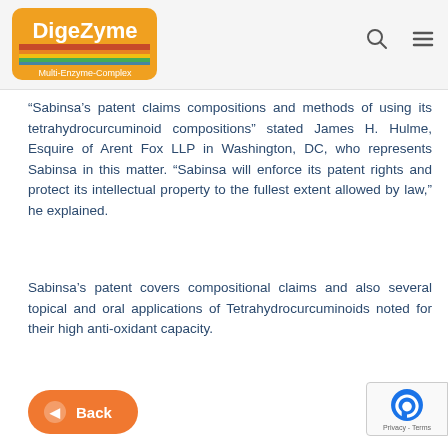[Figure (logo): DigeZyme Multi-Enzyme-Complex logo — orange pentagon shield badge with colorful stripe band and white bold text]
“Sabinsa’s patent claims compositions and methods of using its tetrahydrocurcuminoid compositions” stated James H. Hulme, Esquire of Arent Fox LLP in Washington, DC, who represents Sabinsa in this matter. “Sabinsa will enforce its patent rights and protect its intellectual property to the fullest extent allowed by law,” he explained.
Sabinsa’s patent covers compositional claims and also several topical and oral applications of Tetrahydrocurcuminoids noted for their high anti-oxidant capacity.